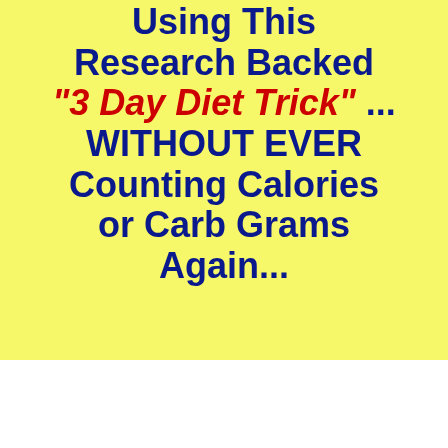Using This Research Backed "3 Day Diet Trick" ... WITHOUT EVER Counting Calories or Carb Grams Again...